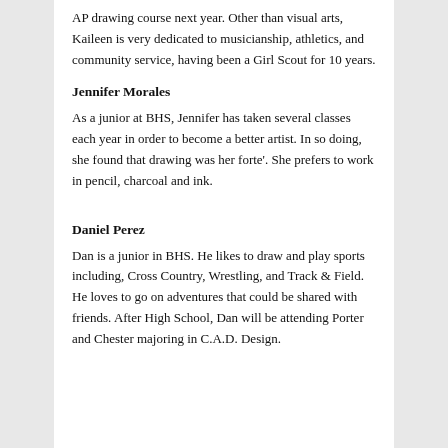AP drawing course next year. Other than visual arts, Kaileen is very dedicated to musicianship, athletics, and community service, having been a Girl Scout for 10 years.
Jennifer Morales
As a junior at BHS, Jennifer has taken several classes each year in order to become a better artist. In so doing, she found that drawing was her forte'. She prefers to work in pencil, charcoal and ink.
Daniel Perez
Dan is a junior in BHS. He likes to draw and play sports including, Cross Country, Wrestling, and Track & Field. He loves to go on adventures that could be shared with friends. After High School, Dan will be attending Porter and Chester majoring in C.A.D. Design.